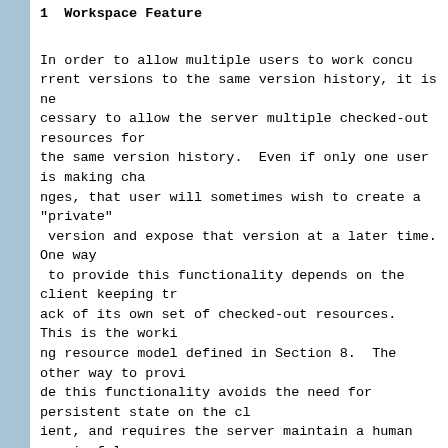Workspace Feature
In order to allow multiple users to work concurrently and commit versions to the same version history, it is necessary to allow the server multiple checked-out resources for the same version history.  Even if only one user is making changes, that user will sometimes wish to create a "private" version and expose that version at a later time.  One way to provide this functionality depends on the client keeping track of its own set of checked-out resources.  This is the working resource model defined in Section 8.  The other way to provide this functionality avoids the need for persistent state on the client, and requires the server maintain a human meaningful namespace for its checked-out resources.  This is the workspace model defined in this section.
The workspace feature introduces a "workspace" resource.  A workspace resource is a collection whose members are related version-controlled and non-version-controlled resources.  Multiple workspaces can be used to expose different versions and configurations of version-controlled resources concurrently.  If a checkin is applied to a version-controlled resource in one workspace but not another workspace, that version-controlled resource mu